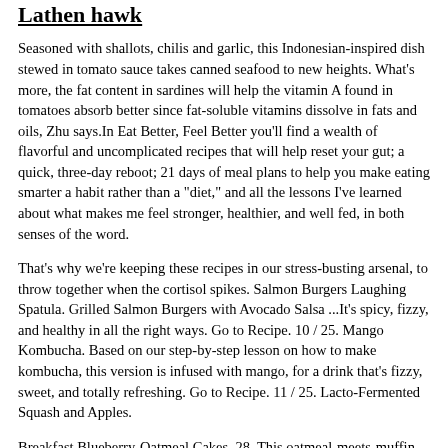Lathen hawk
Seasoned with shallots, chilis and garlic, this Indonesian-inspired dish stewed in tomato sauce takes canned seafood to new heights. What's more, the fat content in sardines will help the vitamin A found in tomatoes absorb better since fat-soluble vitamins dissolve in fats and oils, Zhu says.In Eat Better, Feel Better you'll find a wealth of flavorful and uncomplicated recipes that will help reset your gut; a quick, three-day reboot; 21 days of meal plans to help you make eating smarter a habit rather than a "diet," and all the lessons I've learned about what makes me feel stronger, healthier, and well fed, in both senses of the word.
That's why we're keeping these recipes in our stress-busting arsenal, to throw together when the cortisol spikes. Salmon Burgers Laughing Spatula. Grilled Salmon Burgers with Avocado Salsa ...It's spicy, fizzy, and healthy in all the right ways. Go to Recipe. 10 / 25. Mango Kombucha. Based on our step-by-step lesson on how to make kombucha, this version is infused with mango, for a drink that's fizzy, sweet, and totally refreshing. Go to Recipe. 11 / 25. Lacto-Fermented Squash and Apples.
Breakfast Blueberry-Oatmeal Cakes. 28. This oatmeal-meets-muffin-tin cake recipe is perfect for having a healthy breakfast available on busy weekdays. Make a batch on the weekend and keep them in your freezer. For a grab-and-go breakfast, reheat the